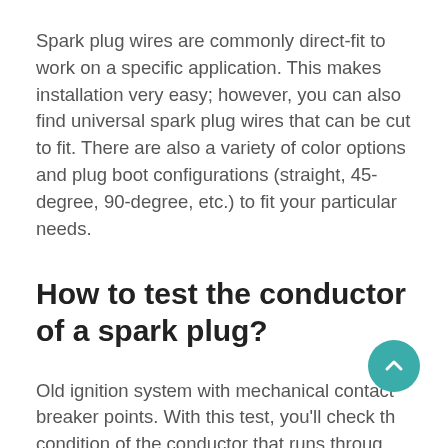Spark plug wires are commonly direct-fit to work on a specific application. This makes installation very easy; however, you can also find universal spark plug wires that can be cut to fit. There are also a variety of color options and plug boot configurations (straight, 45-degree, 90-degree, etc.) to fit your particular needs.
How to test the conductor of a spark plug?
Old ignition system with mechanical contact breaker points. With this test, you'll check the condition of the conductor that runs through the thick insulation of your spark plug wires.